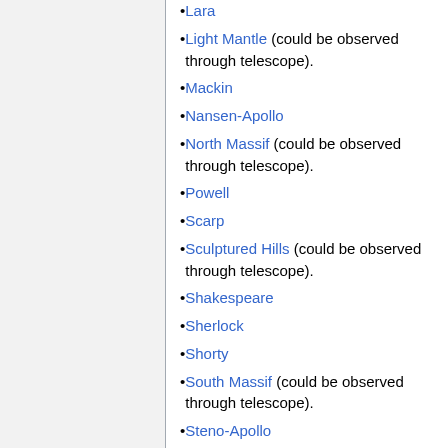Lara
Light Mantle (could be observed through telescope).
Mackin
Nansen-Apollo
North Massif (could be observed through telescope).
Powell
Scarp
Sculptured Hills (could be observed through telescope).
Shakespeare
Sherlock
Shorty
South Massif (could be observed through telescope).
Steno-Apollo
Taurus-Littrow Valley (it should be mentioned that the largest one of the